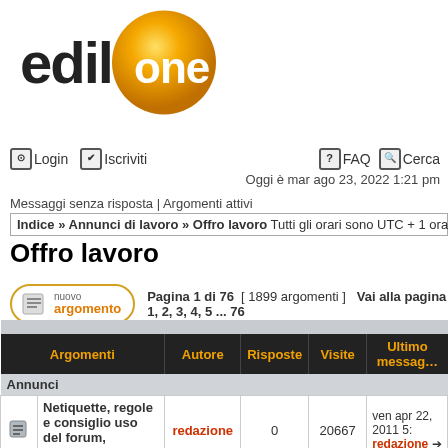[Figure (logo): EdilOne logo with yellow/orange sphere and stylized text]
Login  Iscriviti   FAQ  Cerca
Oggi è mar ago 23, 2022 1:21 pm
Messaggi senza risposta | Argomenti attivi
Indice » Annunci di lavoro » Offro lavoro Tutti gli orari sono UTC + 1 ora [ ora legale ]
Offro lavoro
Pagina 1 di 76 [ 1899 argomenti ] Vai alla pagina 1, 2, 3, 4, 5 ... 76
| Argomenti | Autore | Risposte | Visite | Ultimo messaggio |
| --- | --- | --- | --- | --- |
| Netiquette, regole e consiglio uso del forum, titolazione... | redazione | 0 | 20667 | ven apr 22, 2011 5: redazione → |